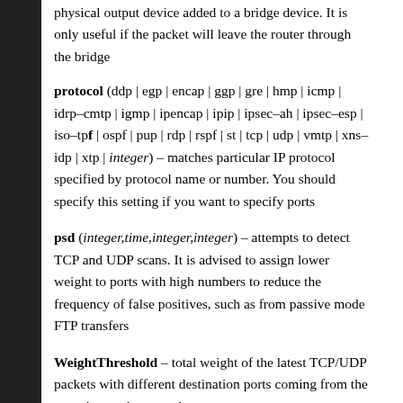physical output device added to a bridge device. It is only useful if the packet will leave the router through the bridge
protocol (ddp | egp | encap | ggp | gre | hmp | icmp | idrp–cmtp | igmp | ipencap | ipip | ipsec–ah | ipsec–esp | iso–tpf | ospf | pup | rdp | rspf | st | tcp | udp | vmtp | xns–idp | xtp | integer) – matches particular IP protocol specified by protocol name or number. You should specify this setting if you want to specify ports
psd (integer,time,integer,integer) – attempts to detect TCP and UDP scans. It is advised to assign lower weight to ports with high numbers to reduce the frequency of false positives, such as from passive mode FTP transfers
WeightThreshold – total weight of the latest TCP/UDP packets with different destination ports coming from the same host to be treated as port scan sequence